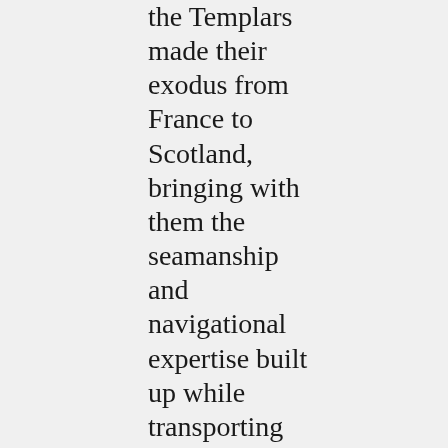the Templars made their exodus from France to Scotland, bringing with them the seamanship and navigational expertise built up while transporting pilgrims and merchants to the Holy Land. It is this expertise that would have been the key to Henry's astonishing achievement... “The voyage was